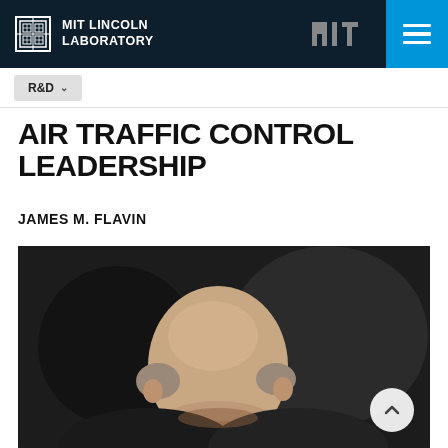MIT LINCOLN LABORATORY
AIR TRAFFIC CONTROL LEADERSHIP
JAMES M. FLAVIN
[Figure (photo): Professional headshot of James M. Flavin, a bald man in dark clothing against a dark background, photographed from the shoulders up]